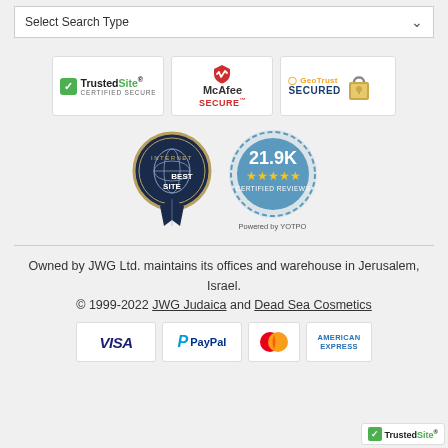Select Search Type
[Figure (logo): TrustedSite Certified Secure badge]
[Figure (logo): McAfee SECURE badge]
[Figure (logo): GeoTrust SECURED badge with padlock]
[Figure (logo): Internet Expert Best Site award badge (blue/gold ribbon)]
[Figure (logo): 21.9K Certified Reviews 5-star badge powered by YOTPO]
Owned by JWG Ltd. maintains its offices and warehouse in Jerusalem, Israel.
© 1999-2022 JWG Judaica and Dead Sea Cosmetics
[Figure (logo): Payment method logos: VISA, PayPal, Mastercard, American Express]
[Figure (logo): TrustedSite badge in bottom-right corner]